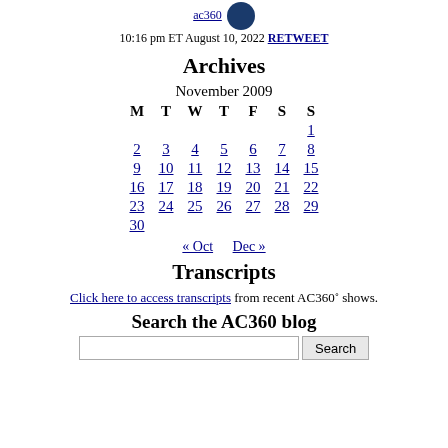ac360  10:16 pm ET August 10, 2022 RETWEET
Archives
| M | T | W | T | F | S | S |
| --- | --- | --- | --- | --- | --- | --- |
|  |  |  |  |  |  | 1 |
| 2 | 3 | 4 | 5 | 6 | 7 | 8 |
| 9 | 10 | 11 | 12 | 13 | 14 | 15 |
| 16 | 17 | 18 | 19 | 20 | 21 | 22 |
| 23 | 24 | 25 | 26 | 27 | 28 | 29 |
| 30 |  |  |  |  |  |  |
« Oct   Dec »
Transcripts
Click here to access transcripts from recent AC360° shows.
Search the AC360 blog
Search